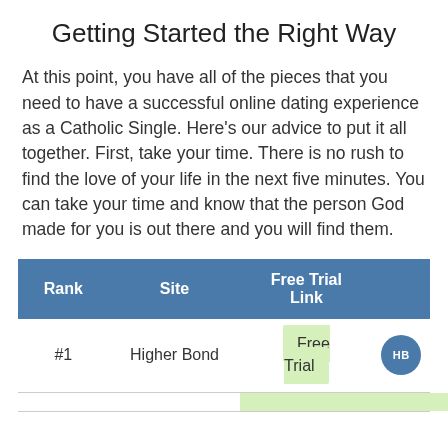Getting Started the Right Way
At this point, you have all of the pieces that you need to have a successful online dating experience as a Catholic Single. Here's our advice to put it all together. First, take your time. There is no rush to find the love of your life in the next five minutes. You can take your time and know that the person God made for you is out there and you will find them.
| Rank | Site | Free Trial Link |
| --- | --- | --- |
| #1 | Higher Bond | Free Trial |